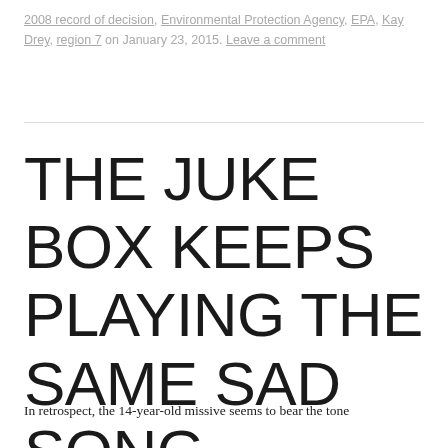2008 record of decision, Environmental Protection Agency, EPA, Kay Drey, region 7 on January 23, 2015. Leave a comment
THE JUKE BOX KEEPS PLAYING THE SAME SAD SONG
In retrospect, the 14-year-old missive seems to bear the tone of a cold dose of water. In short, M for the the man this is and